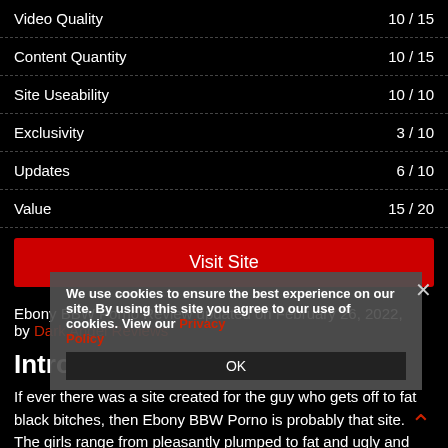| Category | Score |
| --- | --- |
| Video Quality | 10 / 15 |
| Content Quantity | 10 / 15 |
| Site Useability | 10 / 10 |
| Exclusivity | 3 / 10 |
| Updates | 6 / 10 |
| Value | 15 / 20 |
Visit Site
Ebony BBW Porno Review updated on February 26, 2022, by Dark Angel Reviews
Introduction
If ever there was a site created for the guy who gets off to fat black bitches, then Ebony BBW Porno is probably that site. The girls range from pleasantly plumped to fat and ugly and everything in between.
We use cookies to ensure the best experience on our site. By using this site you agree to our use of cookies. View our Privacy Policy OK